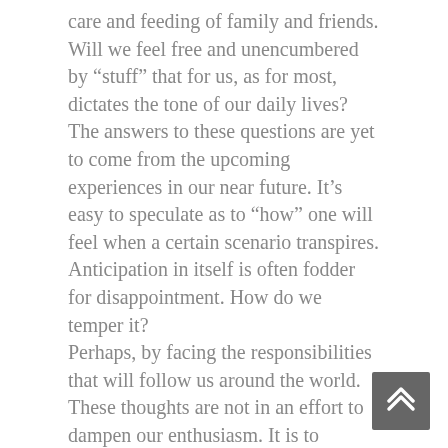care and feeding of family and friends. Will we feel free and unencumbered by “stuff” that for us, as for most, dictates the tone of our daily lives? The answers to these questions are yet to come from the upcoming experiences in our near future. It’s easy to speculate as to “how” one will feel when a certain scenario transpires. Anticipation in itself is often fodder for disappointment. How do we temper it? Perhaps, by facing the responsibilities that will follow us around the world. These thoughts are not in an effort to dampen our enthusiasm. It is to maintain a level of reality that essentially will give us peace of mind that will ultimately enhance our experience.
Loaded with tasks to complete before we leave, we must gather the list of that which will carry with us, not in our overloaded luggage but in our minds and on